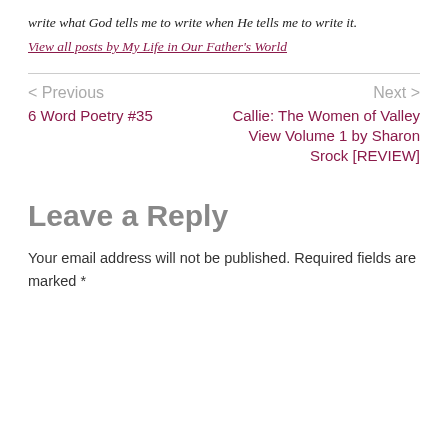write what God tells me to write when He tells me to write it.
View all posts by My Life in Our Father's World
< Previous
6 Word Poetry #35
Next >
Callie: The Women of Valley View Volume 1 by Sharon Srock [REVIEW]
Leave a Reply
Your email address will not be published. Required fields are marked *